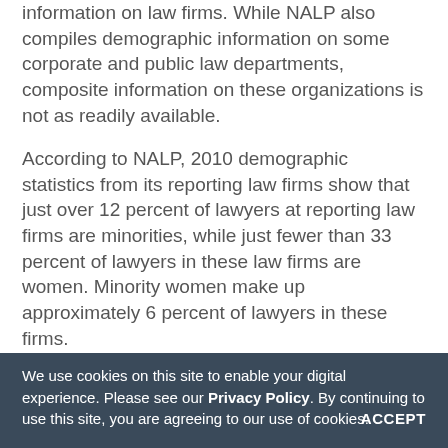information on law firms. While NALP also compiles demographic information on some corporate and public law departments, composite information on these organizations is not as readily available.
According to NALP, 2010 demographic statistics from its reporting law firms show that just over 12 percent of lawyers at reporting law firms are minorities, while just fewer than 33 percent of lawyers in these law firms are women. Minority women make up approximately 6 percent of lawyers in these firms.
At the partner level in these firms, the percentages of minority and women lawyers are significantly lower. With minority partners amounting to approximately 6 percent of partners and women making up just over 19 percent. Minority women account for less than 2 percent of these law firm's partners.